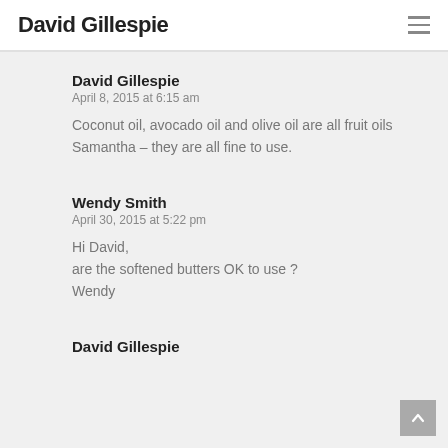David Gillespie
David Gillespie
April 8, 2015 at 6:15 am
Coconut oil, avocado oil and olive oil are all fruit oils Samantha – they are all fine to use.
Wendy Smith
April 30, 2015 at 5:22 pm
Hi David,
are the softened butters OK to use ?
Wendy
David Gillespie